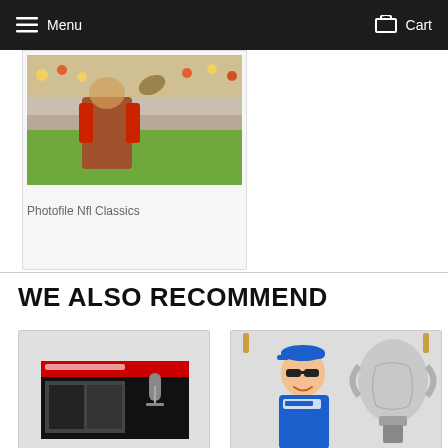Menu  Cart
Photofile Nfl Classics
WE ALSO RECOMMEND
[Figure (photo): NFL Classics football game action photo — players on field with crowd in background]
[Figure (photo): Bottom left recommendation card — dark themed poster with microphone and black-and-white photography]
[Figure (photo): Bottom right recommendation card — racing driver in blue suit smiling with large trophy]